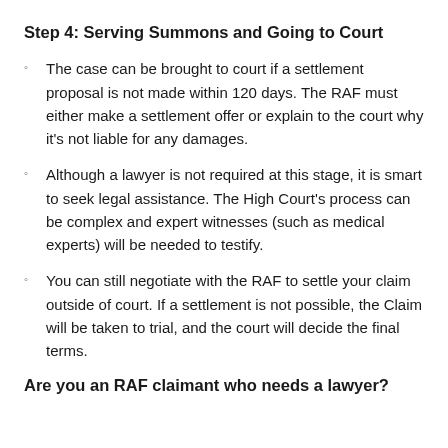Step 4: Serving Summons and Going to Court
The case can be brought to court if a settlement proposal is not made within 120 days. The RAF must either make a settlement offer or explain to the court why it's not liable for any damages.
Although a lawyer is not required at this stage, it is smart to seek legal assistance. The High Court's process can be complex and expert witnesses (such as medical experts) will be needed to testify.
You can still negotiate with the RAF to settle your claim outside of court. If a settlement is not possible, the Claim will be taken to trial, and the court will decide the final terms.
Are you an RAF claimant who needs a lawyer?